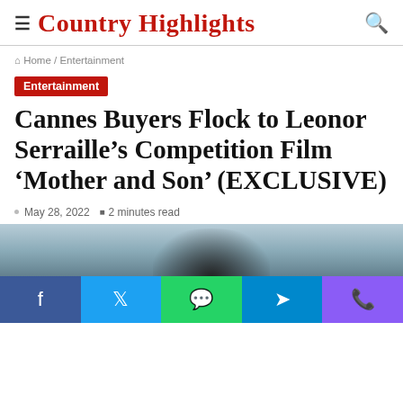Country Highlights
Home / Entertainment
Entertainment
Cannes Buyers Flock to Leonor Serraille’s Competition Film ‘Mother and Son’ (EXCLUSIVE)
May 28, 2022  2 minutes read
[Figure (photo): Partial top of a scene from the article, showing blurred figures in an indoor setting]
[Figure (other): Social share bar with Facebook, Twitter, WhatsApp, Telegram, and Phone icons]